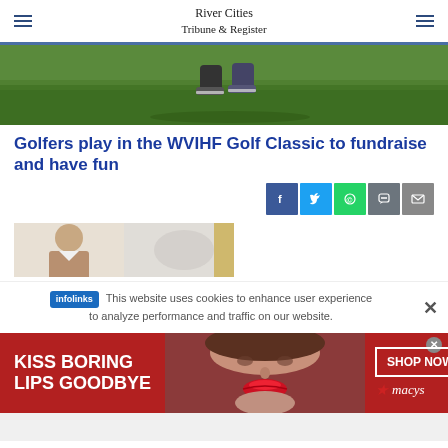River Cities Tribune & Register
[Figure (photo): Golf course photo showing golfer's feet/shoes on green grass]
Golfers play in the WVIHF Golf Classic to fundraise and have fun
[Figure (infographic): Social media share buttons: Facebook, Twitter, WhatsApp, SMS, Email]
[Figure (photo): Portrait photo of a man, partially visible]
This website uses cookies to enhance user experience to analyze performance and traffic on our website.
[Figure (infographic): Macy's advertisement banner: KISS BORING LIPS GOODBYE - SHOP NOW - macys]